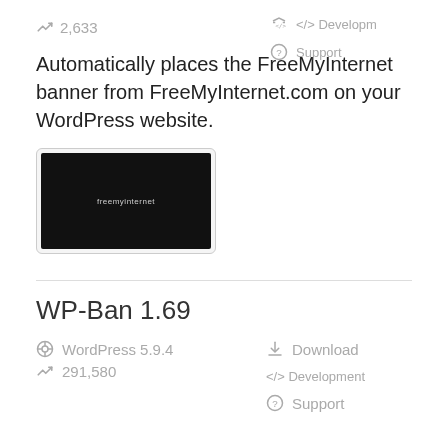↗ 2,633
⟨/⟩ Development
? Support
Automatically places the FreeMyInternet banner from FreeMyInternet.com on your WordPress website.
[Figure (screenshot): Screenshot of FreeMyInternet plugin preview showing a dark banner on a dark background]
WP-Ban 1.69
WordPress 5.9.4
↗ 291,580
↓ Download
⟨/⟩ Development
? Support